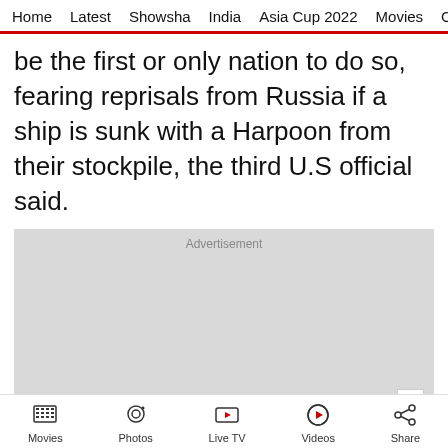Home  Latest  Showsha  India  Asia Cup 2022  Movies  C
be the first or only nation to do so, fearing reprisals from Russia if a ship is sunk with a Harpoon from their stockpile, the third U.S official said.
[Figure (other): Advertisement placeholder box with 'Advertisement' label and close X button]
Movies  Photos  Live TV  Videos  Share